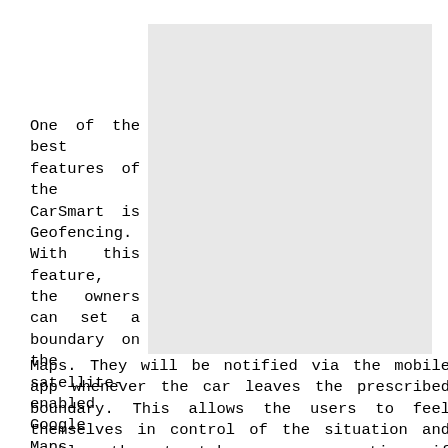[Figure (other): A light gray rectangular placeholder image occupying the right portion of the upper area of the page.]
One of the best features of the CarSmart is Geofencing. With this feature, the owners can set a boundary on the satellite-enabled Google Maps. They will be notified via the mobile app whenever the car leaves the prescribed boundary. This allows the users to feel themselves in control of the situation and enables them to take necessary actions if required. Furthermore, the device also monitors all of the car's